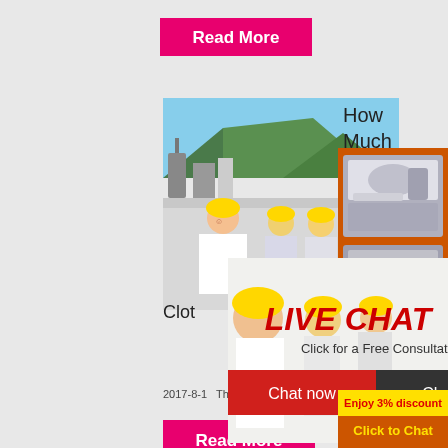[Figure (screenshot): Pink 'Read More' button at top]
[Figure (photo): Industrial site with workers in yellow hard hats and mountains in background]
How Much
[Figure (screenshot): Orange sidebar with machinery images, 'Enjoy 3% discount', 'Click to Chat', Enquiry section and email limingjlmofen@sina.com]
[Figure (screenshot): Live chat popup overlay with 'LIVE CHAT', 'Click for a Free Consultation', 'Chat now' and 'Chat later' buttons]
Clot
2017-8-1  This is one of the first things th
[Figure (screenshot): Pink 'Read More' button at bottom]